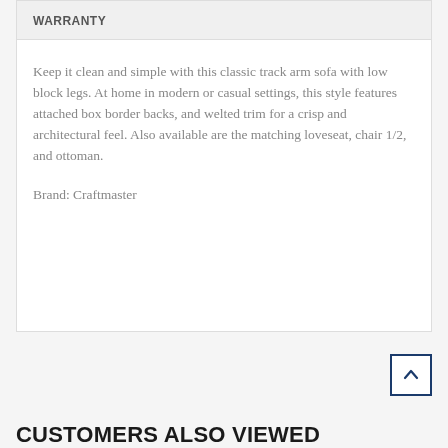WARRANTY
Keep it clean and simple with this classic track arm sofa with low block legs. At home in modern or casual settings, this style features attached box border backs, and welted trim for a crisp and architectural feel. Also available are the matching loveseat, chair 1/2, and ottoman.

Brand: Craftmaster
CUSTOMERS ALSO VIEWED